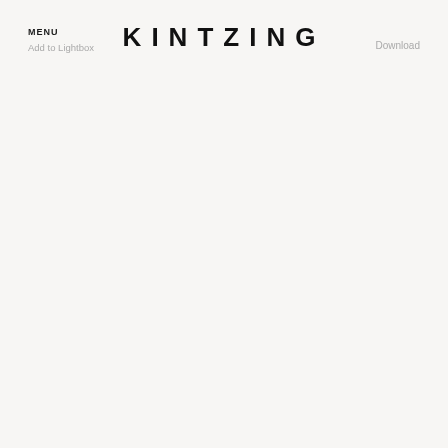MENU  Add to Lightbox    KINTZING    Download